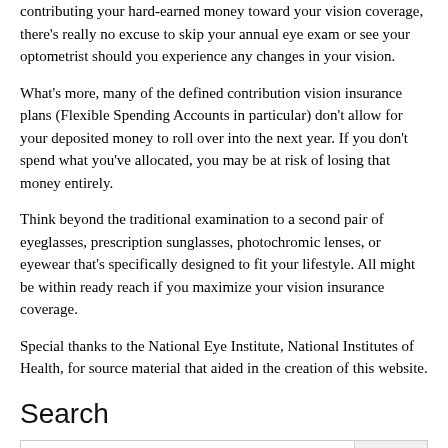contributing your hard-earned money toward your vision coverage, there's really no excuse to skip your annual eye exam or see your optometrist should you experience any changes in your vision.
What's more, many of the defined contribution vision insurance plans (Flexible Spending Accounts in particular) don't allow for your deposited money to roll over into the next year. If you don't spend what you've allocated, you may be at risk of losing that money entirely.
Think beyond the traditional examination to a second pair of eyeglasses, prescription sunglasses, photochromic lenses, or eyewear that's specifically designed to fit your lifestyle. All might be within ready reach if you maximize your vision insurance coverage.
Special thanks to the National Eye Institute, National Institutes of Health, for source material that aided in the creation of this website.
Search